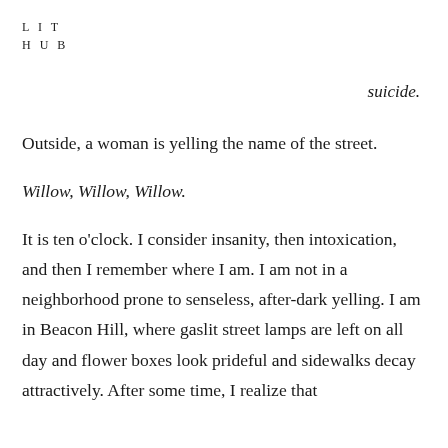LIT
HUB
suicide.
Outside, a woman is yelling the name of the street.
Willow, Willow, Willow.
It is ten o'clock. I consider insanity, then intoxication, and then I remember where I am. I am not in a neighborhood prone to senseless, after-dark yelling. I am in Beacon Hill, where gaslit street lamps are left on all day and flower boxes look prideful and sidewalks decay attractively. After some time, I realize that